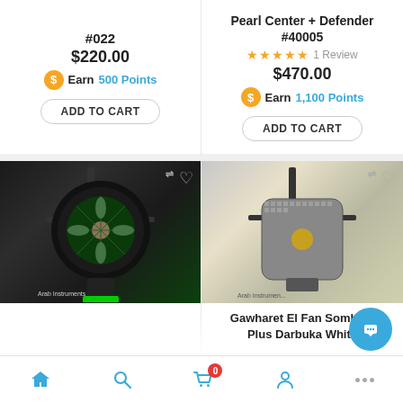#022
$220.00
Earn 500 Points
ADD TO CART
Pearl Center + Defender #40005
1 Review
$470.00
Earn 1,100 Points
ADD TO CART
[Figure (photo): Black decorative darbuka drum with green floral mosaic inlay, displayed on stand, Arab Instruments branding visible]
Gawharet El Fan Sombaty Plus Darbuka The Black
[Figure (photo): White/silver decorative darbuka drum with intricate mosaic pattern, displayed on stand, Arab Instruments branding visible]
Gawharet El Fan Sombaty Plus Darbuka White
Home | Search | Cart (0) | Account | ... | Chat